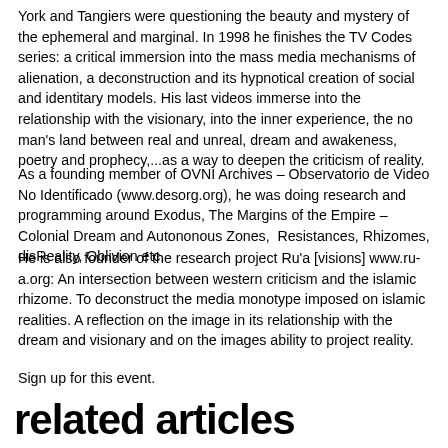York and Tangiers were questioning the beauty and mystery of the ephemeral and marginal. In 1998 he finishes the TV Codes series: a critical immersion into the mass media mechanisms of alienation, a deconstruction and its hypnotical creation of social and identitary models. His last videos immerse into the relationship with the visionary, into the inner experience, the no man's land between real and unreal, dream and awakeness, poetry and prophecy,...as a way to deepen the criticism of reality.
As a founding member of OVNI Archives – Observatorio de Video No Identificado (www.desorg.org), he was doing research and programming around Exodus, The Margins of the Empire – Colonial Dream and Autononous Zones, Resistances, Rhizomes, disReality, Oblivion etc.
He is also founder of the research project Ru'a [visions] www.ru-a.org: An intersection between western criticism and the islamic rhizome. To deconstruct the media monotype imposed on islamic realities. A reflection on the image in its relationship with the dream and visionary and on the images ability to project reality.
Sign up for this event.
related articles